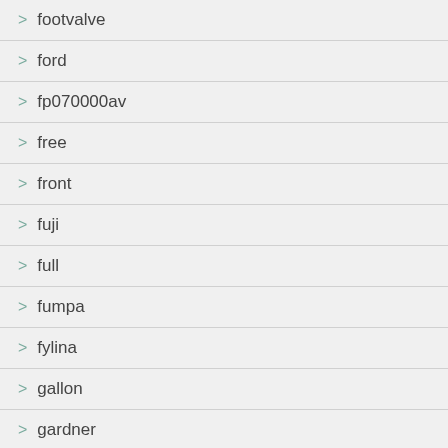> footvalve
> ford
> fp070000av
> free
> front
> fuji
> full
> fumpa
> fylina
> gallon
> gardner
> gardner-denver
> gast